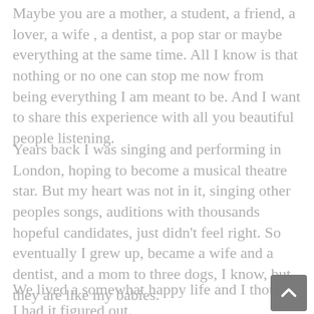Maybe you are a mother, a student, a friend, a lover, a wife , a dentist, a pop star or maybe everything at the same time. All I know is that nothing or no one can stop me now from being everything I am meant to be. And I want to share this experience with all you beautiful people listening.
Years back I was singing and performing in London, hoping to become a musical theatre star. But my heart was not in it, singing other peoples songs, auditions with thousands hopeful candidates, just didn’t feel right. So eventually I grew up, became a wife and a dentist, and a mom to three dogs, I know, but they are like my babies.
We lived a somewhat happy life and I thought I had it figured out.